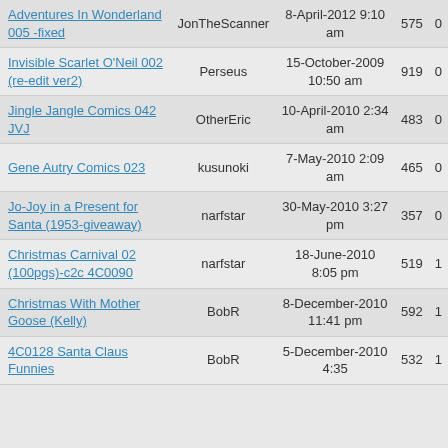| Title | Uploader | Date | Views | Comments |
| --- | --- | --- | --- | --- |
| Adventures In Wonderland 005 -fixed | JonTheScanner | 8-April-2012 9:10 am | 575 | 0 |
| Invisible Scarlet O'Neil 002 (re-edit ver2) | Perseus | 15-October-2009 10:50 am | 919 | 0 |
| Jingle Jangle Comics 042 JVJ | OtherEric | 10-April-2010 2:34 am | 483 | 0 |
| Gene Autry Comics 023 | kusunoki | 7-May-2010 2:09 am | 465 | 0 |
| Jo-Joy in a Present for Santa (1953-giveaway) | narfstar | 30-May-2010 3:27 pm | 357 | 0 |
| Christmas Carnival 02 (100pgs)-c2c 4C0090 | narfstar | 18-June-2010 8:05 pm | 519 | 1 |
| Christmas With Mother Goose (Kelly) | BobR | 8-December-2010 11:41 pm | 592 | 1 |
| 4C0128 Santa Claus Funnies | BobR | 5-December-2010 4:35 | 532 | 1 |